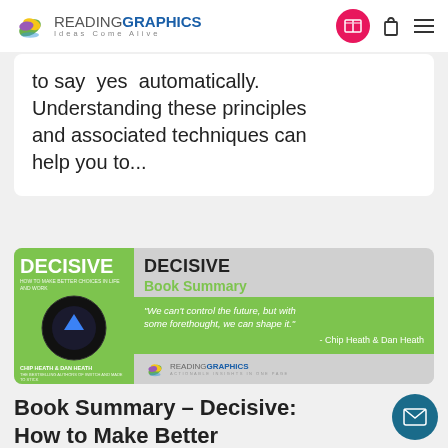READINGRAPHICS — Ideas Come Alive
to say yes automatically. Understanding these principles and associated techniques can help you to...
[Figure (illustration): Decisive Book Summary promotional banner showing book cover (magic 8-ball, green background, title DECISIVE by Chip Heath & Dan Heath), with quote: 'We can't control the future, but with some forethought, we can shape it.' - Chip Heath & Dan Heath, and ReadingGraphics logo]
Book Summary – Decisive: How to Make Better